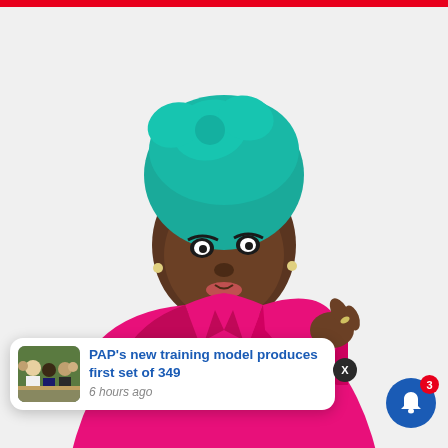[Figure (photo): Screenshot of a social media/news app page. Main image shows a young Black woman wearing a teal/turquoise head wrap and bright pink blazer/suit, posing confidently against a white background. A red bar runs across the very top. Overlaid at the bottom is a news notification card showing a thumbnail of men at an event, with the headline 'PAP's new training model produces first set of 349' and timestamp '6 hours ago'. A dark circle with X appears at the right side of the notification card, and a blue bell icon with red badge showing '3' appears at the bottom right corner.]